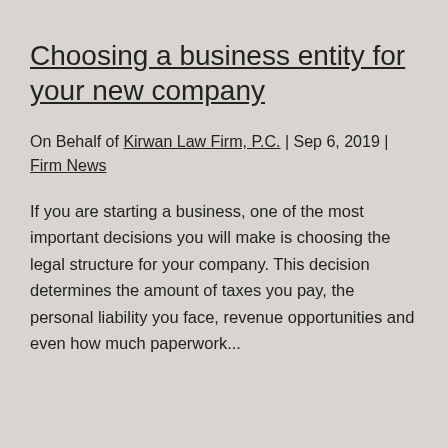Choosing a business entity for your new company
On Behalf of Kirwan Law Firm, P.C. | Sep 6, 2019 | Firm News
If you are starting a business, one of the most important decisions you will make is choosing the legal structure for your company. This decision determines the amount of taxes you pay, the personal liability you face, revenue opportunities and even how much paperwork...